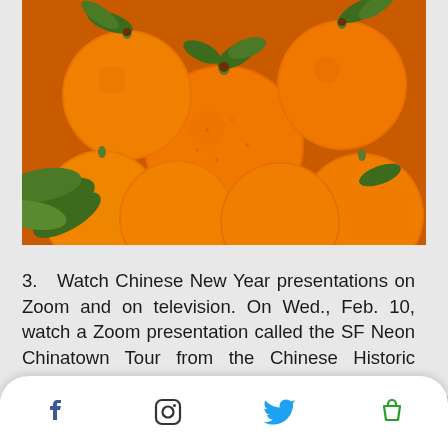[Figure (photo): Close-up photo of a pile of mandarin oranges/tangerines with green leaves, vibrant orange color]
3.   Watch Chinese New Year presentations on Zoom and on television. On Wed., Feb. 10, watch a Zoom presentation called the SF Neon Chinatown Tour from the Chinese Historic Society of America Museum (see www.chsa.org). On S... C... n,